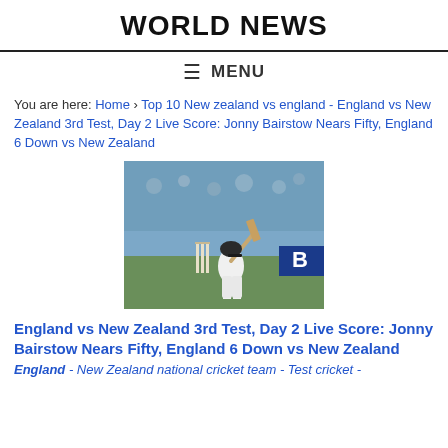WORLD NEWS
≡  MENU
You are here: Home › Top 10 New zealand vs england - England vs New Zealand 3rd Test, Day 2 Live Score: Jonny Bairstow Nears Fifty, England 6 Down vs New Zealand
[Figure (photo): A cricket batsman in white kit playing a shot during a Test match, with stumps and crowd visible in the background]
England vs New Zealand 3rd Test, Day 2 Live Score: Jonny Bairstow Nears Fifty, England 6 Down vs New Zealand
England - New Zealand national cricket team - Test cricket -